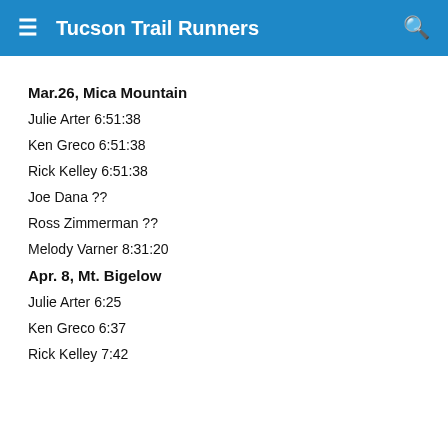≡  Tucson Trail Runners  🔍
Mar.26, Mica Mountain
Julie Arter 6:51:38
Ken Greco 6:51:38
Rick Kelley 6:51:38
Joe Dana ??
Ross Zimmerman ??
Melody Varner 8:31:20
Apr. 8, Mt. Bigelow
Julie Arter 6:25
Ken Greco 6:37
Rick Kelley 7:42